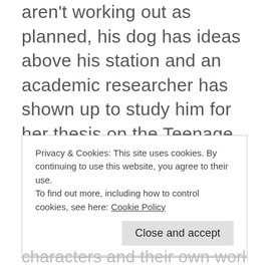aren't working out as planned, his dog has ideas above his station and an academic researcher has shown up to study him for her thesis on the Teenage Muslim Mind. And then there's the matter of his missing brother...
Narrative and Plot
Privacy & Cookies: This site uses cookies. By continuing to use this website, you agree to their use. To find out more, including how to control cookies, see here: Cookie Policy
characters and their own worldview at the things